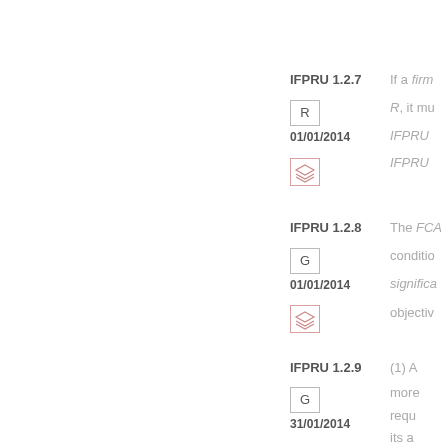IFPRU 1.2.7
R
01/01/2014
If a firm R, it mu IFPRU IFPRU
IFPRU 1.2.8
G
01/01/2014
The FCA conditions significa objectiv
IFPRU 1.2.9
G
31/01/2014
(1) A more requ its a acco men